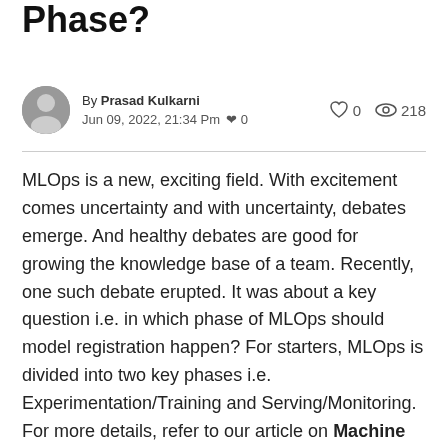Phase?
By Prasad Kulkarni Jun 09, 2022, 21:34 Pm  0    0  218
MLOps is a new, exciting field. With excitement comes uncertainty and with uncertainty, debates emerge. And healthy debates are good for growing the knowledge base of a team. Recently, one such debate erupted. It was about a key question i.e. in which phase of MLOps should model registration happen? For starters, MLOps is divided into two key phases i.e. Experimentation/Training and Serving/Monitoring. For more details, refer to our article on Machine Learning System Design. Having said that, to answer the question, we need to first understand what Model Registration means. For the same, it's imperative to